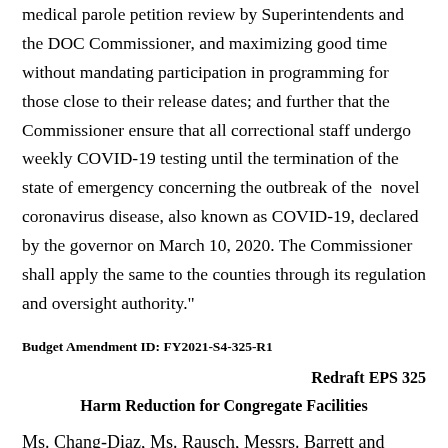medical parole petition review by Superintendents and the DOC Commissioner, and maximizing good time without mandating participation in programming for those close to their release dates; and further that the Commissioner ensure that all correctional staff undergo weekly COVID-19 testing until the termination of the state of emergency concerning the outbreak of the novel coronavirus disease, also known as COVID-19, declared by the governor on March 10, 2020. The Commissioner shall apply the same to the counties through its regulation and oversight authority."
Budget Amendment ID: FY2021-S4-325-R1
Redraft EPS 325
Harm Reduction for Congregate Facilities
Ms. Chang-Diaz, Ms. Rausch, Messrs. Barrett and Eldridge, Ms.